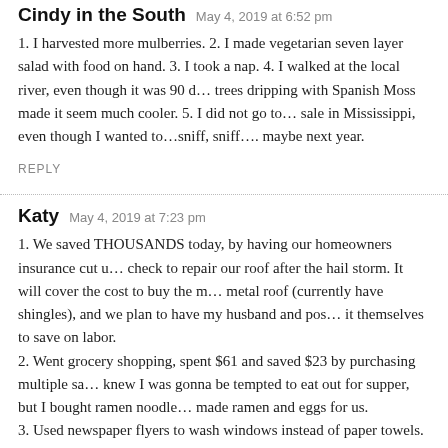Cindy in the South   May 4, 2019 at 6:52 pm
1. I harvested more mulberries. 2. I made vegetarian seven layer salad with food on hand. 3. I took a nap. 4. I walked at the local river, even though it was 90 d… trees dripping with Spanish Moss made it seem much cooler. 5. I did not go to… sale in Mississippi, even though I wanted to…sniff, sniff…. maybe next year.
REPLY
Katy   May 4, 2019 at 7:23 pm
1. We saved THOUSANDS today, by having our homeowners insurance cut u… check to repair our roof after the hail storm. It will cover the cost to buy the m… metal roof (currently have shingles), and we plan to have my husband and pos… it themselves to save on labor.
2. Went grocery shopping, spent $61 and saved $23 by purchasing multiple sa… knew I was gonna be tempted to eat out for supper, but I bought ramen noodle… made ramen and eggs for us.
3. Used newspaper flyers to wash windows instead of paper towels. Then I ha… dust with an old holey shirt as a rag.
4. Keeping track of my calorie intake using free my fitness pal app. And proba…